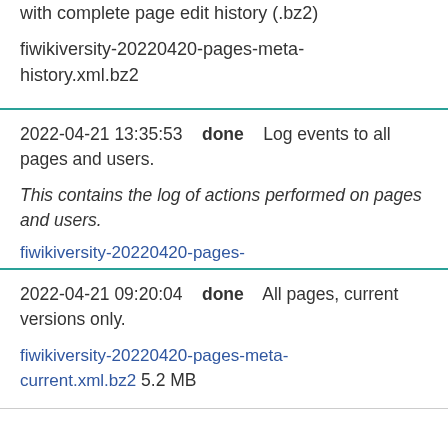with complete page edit history (.bz2)

fiwikiversity-20220420-pages-meta-history.xml.bz2
2022-04-21 13:35:53   done   Log events to all pages and users.

This contains the log of actions performed on pages and users. fiwikiversity-20220420-pages-logging.xml.gz 238 KB
2022-04-21 09:20:04   done   All pages, current versions only.

fiwikiversity-20220420-pages-meta-current.xml.bz2 5.2 MB